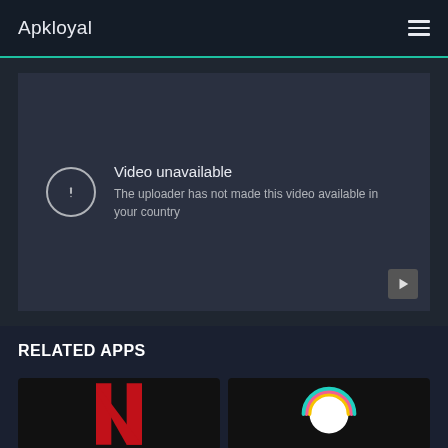Apkloyal
[Figure (screenshot): Video unavailable screen: shows a circle with exclamation mark icon, title 'Video unavailable', subtitle 'The uploader has not made this video available in your country', with a play button in bottom right corner.]
RELATED APPS
[Figure (screenshot): Two app thumbnails at the bottom: left shows Netflix red N logo on black background, right shows a rainbow arc/circle logo on black background.]